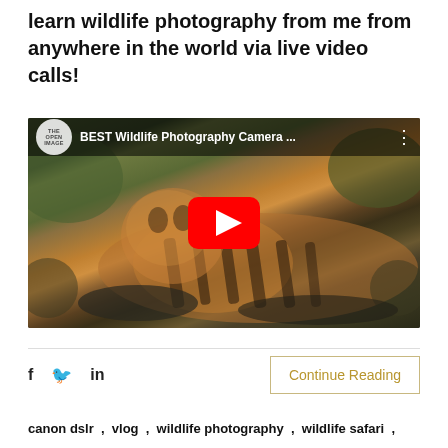learn wildlife photography from me from anywhere in the world via live video calls!
[Figure (screenshot): YouTube video thumbnail showing a tiger lying on rocks in a forest, with YouTube play button overlay. Video title: 'BEST Wildlife Photography Camera ...' with The Open Image channel logo.]
f  🐦  in
Continue Reading
canon dslr , vlog , wildlife photography , wildlife safari ,